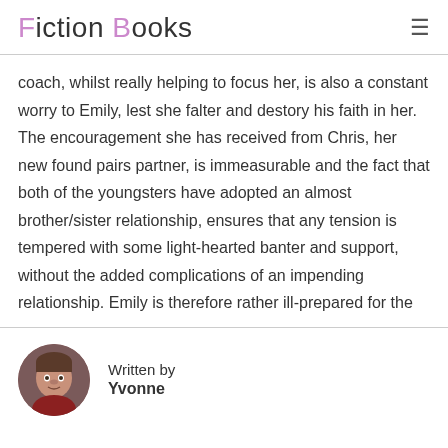Fiction Books
coach, whilst really helping to focus her, is also a constant worry to Emily, lest she falter and destory his faith in her. The encouragement she has received from Chris, her new found pairs partner, is immeasurable and the fact that both of the youngsters have adopted an almost brother/sister relationship, ensures that any tension is tempered with some light-hearted banter and support, without the added complications of an impending relationship. Emily is therefore rather ill-prepared for the
Written by
Yvonne